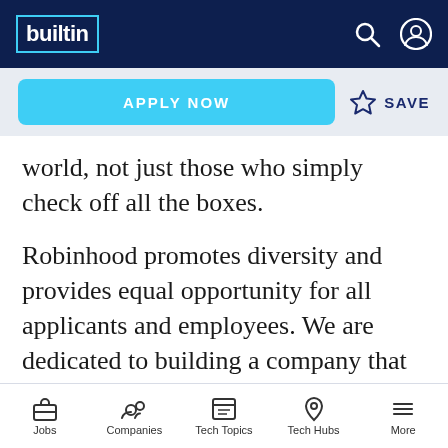builtin (logo)
APPLY NOW  ☆ SAVE
world, not just those who simply check off all the boxes.
Robinhood promotes diversity and provides equal opportunity for all applicants and employees. We are dedicated to building a company that represents a variety of backgrounds, perspectives, and skills. We believe that the more inclusive we are, the better our work (and our business, we are) will be for
Jobs  Companies  Tech Topics  Tech Hubs  More